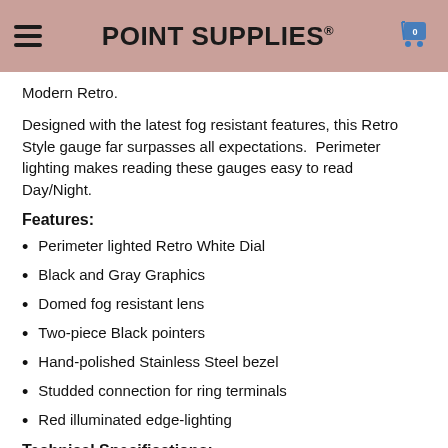POINT SUPPLIES®
Modern Retro.
Designed with the latest fog resistant features, this Retro Style gauge far surpasses all expectations.  Perimeter lighting makes reading these gauges easy to read Day/Night.
Features:
Perimeter lighted Retro White Dial
Black and Gray Graphics
Domed fog resistant lens
Two-piece Black pointers
Hand-polished Stainless Steel bezel
Studded connection for ring terminals
Red illuminated edge-lighting
Technical Specifications: